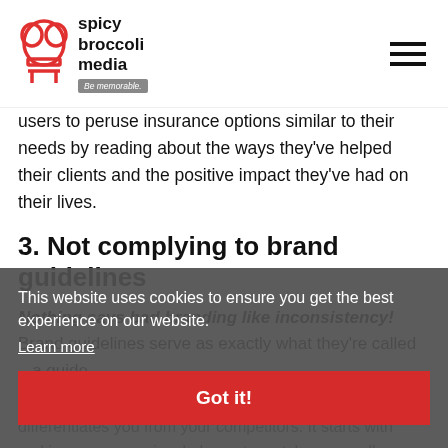spicy broccoli media — Be memorable.
users to peruse insurance options similar to their needs by reading about the ways they've helped their clients and the positive impact they've had on their lives.
3. Not complying to brand guidelines
Nothing says bad branding like inconsistency! Brand guidelines serve as exactly what they're called – a guide. They serve to demonstrate what you represent and what differentiates you from your competitors. It starts with making sure your visual elements match across all platforms. Brands that are consistently presented are three to four times more likely to experience brand...
This website uses cookies to ensure you get the best experience on our website.
Learn more
Got it!